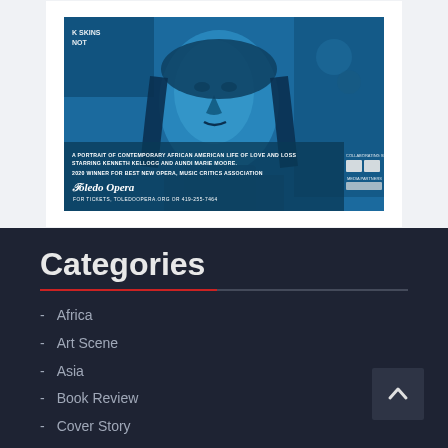[Figure (illustration): Toledo Opera advertisement with blue stylized portrait of a person, text reading 'A PORTRAIT OF CONTEMPORARY AFRICAN AMERICAN LIFE OF LOVE AND LOSS STARRING KENNETH KELLOGG AND AUNDI MARIE MOORE. 2020 WINNER FOR BEST NEW OPERA, MUSIC CRITICS ASSOCIATION', Toledo Opera logo, 'FOR TICKETS, TOLEDOOPERA.ORG OR 419-255-7464', collaborating sponsors and media partners logos]
Categories
Africa
Art Scene
Asia
Book Review
Cover Story
Economy